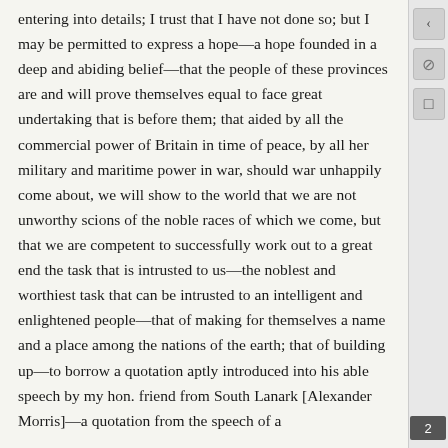entering into details; I trust that I have not done so; but I may be permitted to express a hope—a hope founded in a deep and abiding belief—that the people of these provinces are and will prove themselves equal to face great undertaking that is before them; that aided by all the commercial power of Britain in time of peace, by all her military and maritime power in war, should war unhappily come about, we will show to the world that we are not unworthy scions of the noble races of which we come, but that we are competent to successfully work out to a great end the task that is intrusted to us—the noblest and worthiest task that can be intrusted to an intelligent and enlightened people—that of making for themselves a name and a place among the nations of the earth; that of building up—to borrow a quotation aptly introduced into his able speech by my hon. friend from South Lanark [Alexander Morris]—a quotation from the speech of a
2